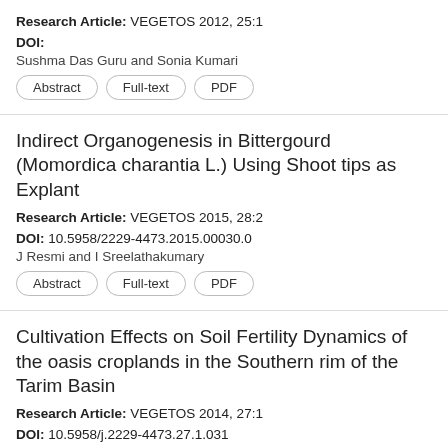Research Article: VEGETOS 2012, 25:1
DOI:
Sushma Das Guru and Sonia Kumari
Abstract | Full-text | PDF
Indirect Organogenesis in Bittergourd (Momordica charantia L.) Using Shoot tips as Explant
Research Article: VEGETOS 2015, 28:2
DOI: 10.5958/2229-4473.2015.00030.0
J Resmi and I Sreelathakumary
Abstract | Full-text | PDF
Cultivation Effects on Soil Fertility Dynamics of the oasis croplands in the Southern rim of the Tarim Basin
Research Article: VEGETOS 2014, 27:1
DOI: 10.5958/j.2229-4473.27.1.031
Caibian Huang, Fanjiang Zeng and Jiaqiang Lei
Abstract | Full-text | PDF